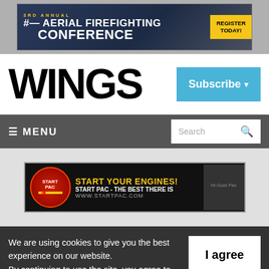[Figure (screenshot): Banner advertisement for 3rd Annual Aerial Firefighting Conference with Register Today button]
WINGS
Subscribe
≡ MENU
Search
[Figure (screenshot): Start PAC advertisement: START YOUR ENGINES! START PAC - THE BEST THERE IS www.STARTPAC.com]
We are using cookies to give you the best experience on our website.
By continuing to use the site, you agree to the use of cookies.
To find out more, read our privacy policy.